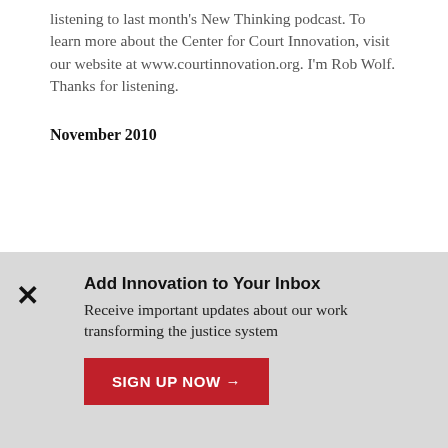listening to last month's New Thinking podcast. To learn more about the Center for Court Innovation, visit our website at www.courtinnovation.org. I'm Rob Wolf. Thanks for listening.
November 2010
Add Innovation to Your Inbox
Receive important updates about our work transforming the justice system
SIGN UP NOW →